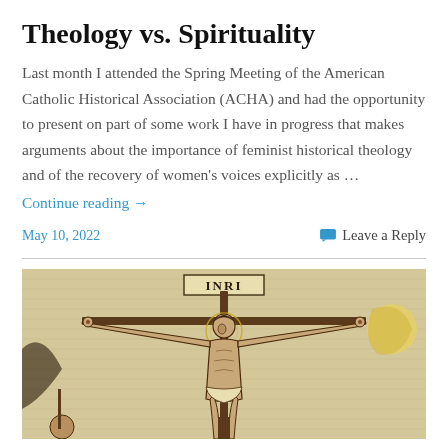Theology vs. Spirituality
Last month I attended the Spring Meeting of the American Catholic Historical Association (ACHA) and had the opportunity to present on part of some work I have in progress that makes arguments about the importance of feminist historical theology and of the recovery of women's voices explicitly as …
Continue reading →
May 10, 2022
Leave a Reply
[Figure (illustration): Historical engraving of the crucifixion of Jesus Christ on the cross, with INRI sign above, arms outstretched, in a detailed woodcut or engraving style with yellowish-brown tones.]